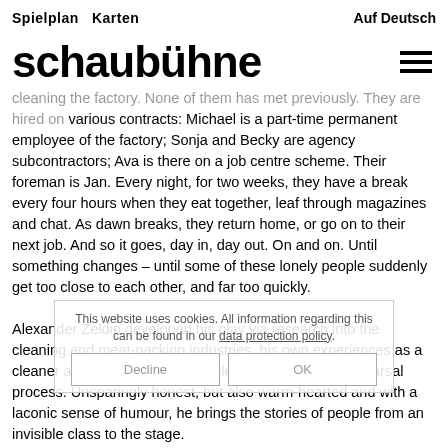Spielplan   Karten                                    Auf Deutsch
schaubühne
cleaning the factory. None of them has met previously. They are hired on various contracts: Michael is a part-time permanent employee of the factory; Sonja and Becky are agency subcontractors; Ava is there on a job centre scheme. Their foreman is Jan. Every night, for two weeks, they have a break every four hours when they eat together, leaf through magazines and chat. As dawn breaks, they return home, or go on to their next job. And so it goes, day in, day out. On and on. Until something changes – until some of these lonely people suddenly get too close to each other, and far too quickly.

Alexander Zeldin developed his play via research into the cleaning and meat-packing industries, his own experiences as a cleaner and by involving actual cleaning staff in the rehearsal process. Unsparingly honest, but also warm-hearted and with a laconic sense of humour, he brings the stories of people from an invisible class to the stage.

Alexander Zeldin is a British playwright and director. He is Associate Director at the National Theatre London and Associate Artist of the
This website uses cookies. All information regarding this can be found in our data protection policy.
Decline     OK